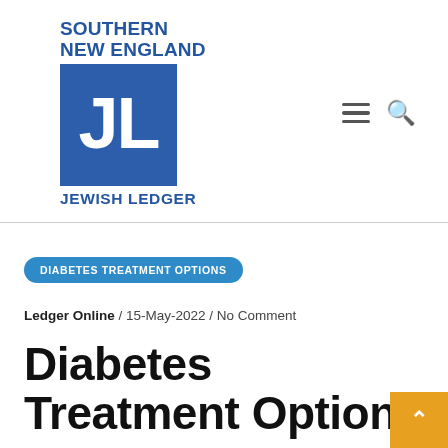[Figure (logo): Southern New England Jewish Ledger logo with blue JL monogram on blue square background]
DIABETES TREATMENT OPTIONS
Ledger Online / 15-May-2022 / No Comment
Diabetes Treatment Options